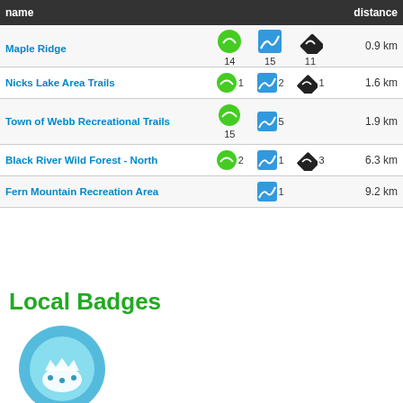| name |  |  |  | distance |
| --- | --- | --- | --- | --- |
| Maple Ridge | 14 | 15 | 11 | 0.9 km |
| Nicks Lake Area Trails | 1 | 2 | 1 | 1.6 km |
| Town of Webb Recreational Trails | 15 | 5 |  | 1.9 km |
| Black River Wild Forest - North | 2 | 1 | 3 | 6.3 km |
| Fern Mountain Recreation Area |  | 1 |  | 9.2 km |
Local Badges
[Figure (illustration): Circular badge icon with teal/blue background and white crown/figure symbol]